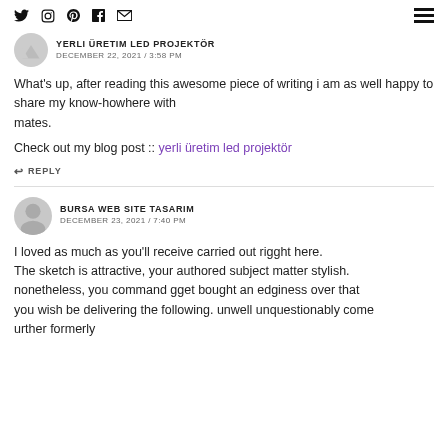Social icons: Twitter, Instagram, Pinterest, Facebook, Email | Hamburger menu
YERLI ÜRETIM LED PROJEKTÖR
DECEMBER 22, 2021 / 3:58 PM
What's up, after reading this awesome piece of writing i am as well happy to share my know-howhere with mates.
Check out my blog post :: yerli üretim led projektör
REPLY
BURSA WEB SITE TASARIM
DECEMBER 23, 2021 / 7:40 PM
I loved as much as you'll receive carried out rigght here. The sketch is attractive, your authored subject matter stylish. nonetheless, you command gget bought an edginess over that you wish be delivering the following. unwell unquestionably come urther formerly